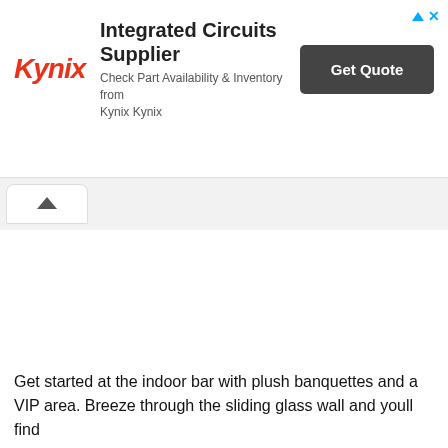[Figure (other): Kynix advertisement banner: Kynix logo in red italic, headline 'Integrated Circuits Supplier', subtext 'Check Part Availability & Inventory from Kynix Kynix', and a dark 'Get Quote' button. Top-right has a blue ad triangle icon and X close button.]
[Figure (other): Browser-style tab/navigation area with a white rounded tab containing an upward chevron (back/collapse button).]
Get started at the indoor bar with plush banquettes and a VIP area. Breeze through the sliding glass wall and youll find